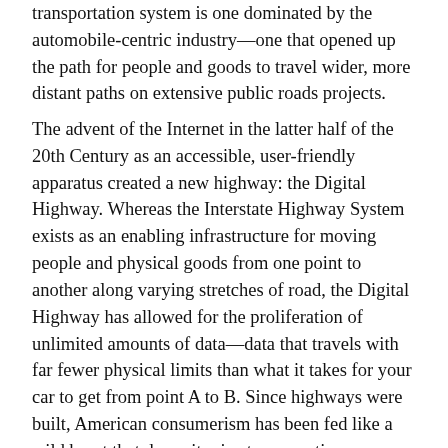transportation system is one dominated by the automobile-centric industry—one that opened up the path for people and goods to travel wider, more distant paths on extensive public roads projects.
The advent of the Internet in the latter half of the 20th Century as an accessible, user-friendly apparatus created a new highway: the Digital Highway. Whereas the Interstate Highway System exists as an enabling infrastructure for moving people and physical goods from one point to another along varying stretches of road, the Digital Highway has allowed for the proliferation of unlimited amounts of data—data that travels with far fewer physical limits than what it takes for your car to get from point A to B. Since highways were built, American consumerism has been fed like a wild beast that drove its size to proportions previously unseen, but there are always barriers and limits to what can be created and consumed. There are only so many resources in the world, so many items that can be dreamed up, so many people who are able to obtain and use them, and only so much room to store these items while not in use or once they have become